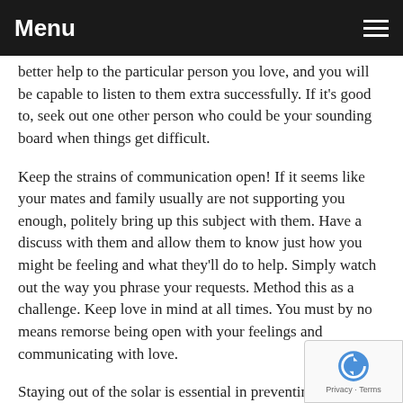Menu
better help to the particular person you love, and you will be capable to listen to them extra successfully. If it's good to, seek out one other person who could be your sounding board when things get difficult.
Keep the strains of communication open! If it seems like your mates and family usually are not supporting you enough, politely bring up this subject with them. Have a discuss with them and allow them to know just how you might be feeling and what they'll do to help. Simply watch out the way you phrase your requests. Method this as a challenge. Keep love in mind at all times. You must by no means remorse being open with your feelings and communicating with love.
Staying out of the solar is essential in preventing s most cancers, however most people don't take hee this recommendation within the wintertime. Consider